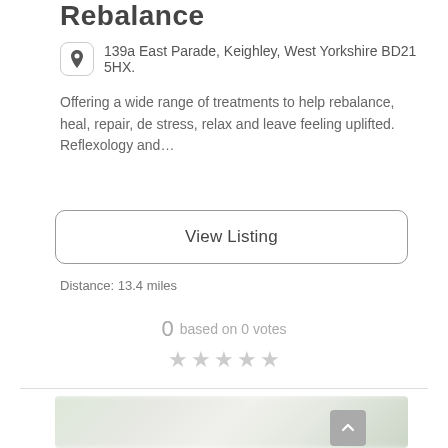Rebalance
139a East Parade, Keighley, West Yorkshire BD21 5HX.
Offering a wide range of treatments to help rebalance, heal, repair, de stress, relax and leave feeling uplifted. Reflexology and…
View Listing
Distance: 13.4 miles
0 based on 0 votes
[Figure (photo): Blurred nature/floral background image, light greens and whites]